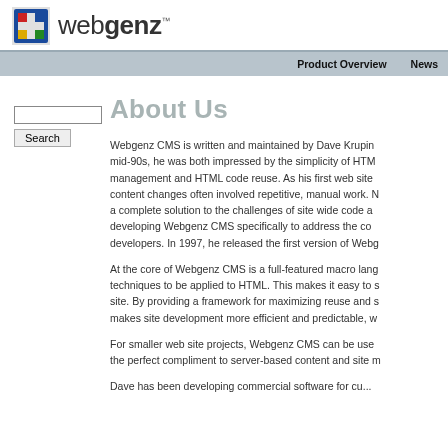webgenz™
Product Overview   News
About Us
Webgenz CMS is written and maintained by Dave Krupin... mid-90s, he was both impressed by the simplicity of HTML management and HTML code reuse. As his first web site content changes often involved repetitive, manual work. a complete solution to the challenges of site wide code and developing Webgenz CMS specifically to address the code developers. In 1997, he released the first version of Webg
At the core of Webgenz CMS is a full-featured macro lang techniques to be applied to HTML. This makes it easy to s site. By providing a framework for maximizing reuse and s makes site development more efficient and predictable, w
For smaller web site projects, Webgenz CMS can be used the perfect compliment to server-based content and site m
Dave has been developing commercial software for cu...